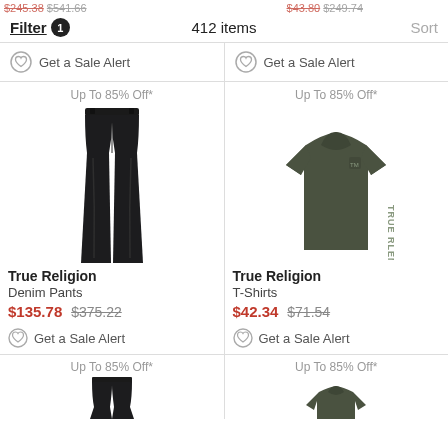Filter 1   412 items   Sort
Get a Sale Alert   Get a Sale Alert
[Figure (photo): Black slim-fit denim pants product photo with 'Up To 85% Off*' badge]
True Religion
Denim Pants
$135.78  $375.22
Get a Sale Alert
[Figure (photo): Olive green True Religion T-shirt with vertical logo text, 'Up To 85% Off*' badge]
True Religion
T-Shirts
$42.34  $71.54
Get a Sale Alert
Up To 85% Off*   Up To 85% Off*